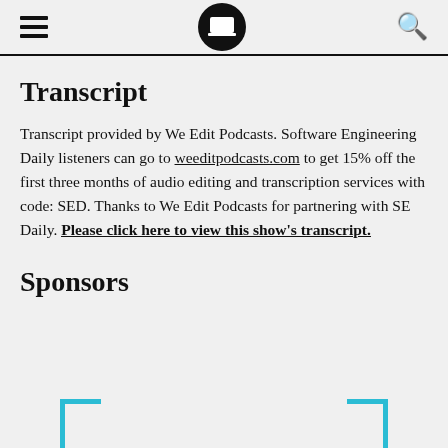[Navigation header with hamburger menu, laptop logo, and search icon]
Transcript
Transcript provided by We Edit Podcasts. Software Engineering Daily listeners can go to weeditpodcasts.com to get 15% off the first three months of audio editing and transcription services with code: SED. Thanks to We Edit Podcasts for partnering with SE Daily. Please click here to view this show's transcript.
Sponsors
[Figure (logo): Partial teal bracket logos at the bottom of the page]